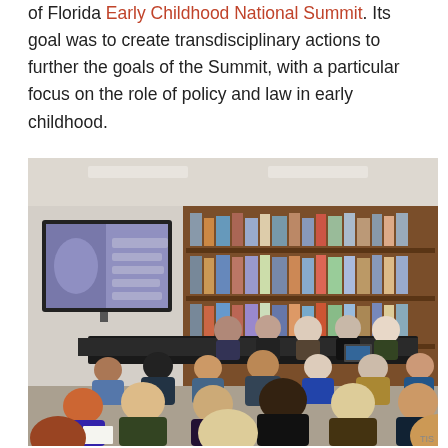of Florida Early Childhood National Summit. Its goal was to create transdisciplinary actions to further the goals of the Summit, with a particular focus on the role of policy and law in early childhood.
[Figure (photo): Conference room scene showing a panel discussion at the Florida Early Childhood National Summit. A large TV screen is mounted on the left wall showing an image. Panelists sit at a long table at the front. Audience members sit in rows facing the panel. Behind the panelists are large wooden bookshelves filled with books.]